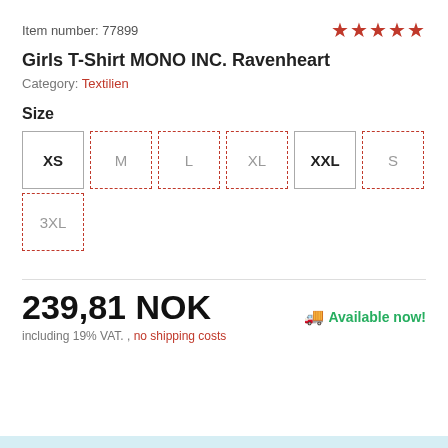Item number: 77899
★★★★★
Girls T-Shirt MONO INC. Ravenheart
Category: Textilien
Size
XS M L XL XXL S 3XL
239,81 NOK
Available now!
including 19% VAT. , no shipping costs